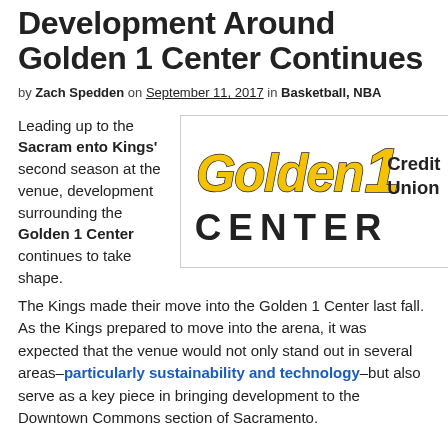Development Around Golden 1 Center Continues
by Zach Spedden on September 11, 2017 in Basketball, NBA
Leading up to the Sacramento Kings' second season at the venue, development surrounding the Golden 1 Center continues to take shape.
[Figure (logo): Golden 1 Credit Union CENTER logo]
The Kings made their move into the Golden 1 Center last fall. As the Kings prepared to move into the arena, it was expected that the venue would not only stand out in several areas–particularly sustainability and technology–but also serve as a key piece in bringing development to the Downtown Commons section of Sacramento.